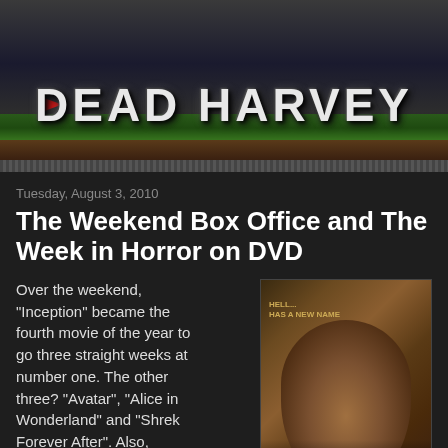[Figure (logo): Dead Harvey website banner logo with stone/grunge text on dark background with grass and dirt strip at bottom]
Tuesday, August 3, 2010
The Weekend Box Office and The Week in Horror on DVD
Over the weekend, "Inception" became the fourth movie of the year to go three straight weeks at number one. The other three? "Avatar", "Alice in Wonderland" and "Shrek Forever After". Also, "Inception" has now
[Figure (photo): DVD/movie cover art showing a bearded man's face in distressed brownish tones with text overlay]